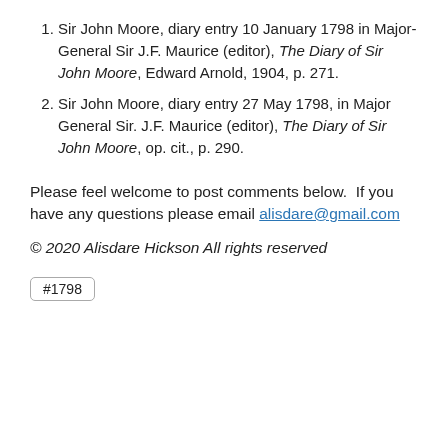Sir John Moore, diary entry 10 January 1798 in Major-General Sir J.F. Maurice (editor), The Diary of Sir John Moore, Edward Arnold, 1904, p. 271.
Sir John Moore, diary entry 27 May 1798, in Major General Sir. J.F. Maurice (editor), The Diary of Sir John Moore, op. cit., p. 290.
Please feel welcome to post comments below.  If you have any questions please email alisdare@gmail.com
© 2020 Alisdare Hickson All rights reserved
#1798